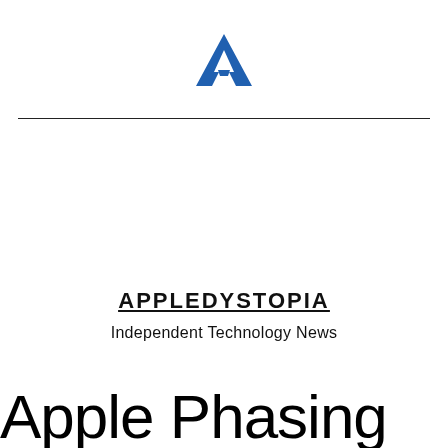[Figure (logo): Appledystopia logo: a blue stylized letter A (arrow/chevron shape)]
APPLEDYSTOPIA
Independent Technology News
Apple Phasing